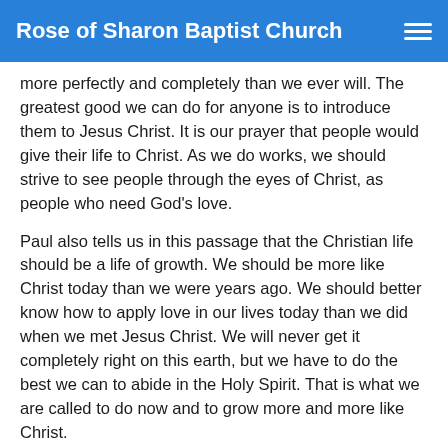Rose of Sharon Baptist Church
more perfectly and completely than we ever will.  The greatest good we can do for anyone is to introduce them to Jesus Christ.  It is our prayer that people would give their life to Christ.  As we do works, we should strive to see people through the eyes of Christ, as people who need God's love.
Paul also tells us in this passage that the Christian life should be a life of growth.  We should be more like Christ today than we were years ago.  We should better know how to apply love in our lives today than we did when we met Jesus Christ.  We will never get it completely right on this earth, but we have to do the best we can to abide in the Holy Spirit.  That is what we are called to do now and to grow more and more like Christ.